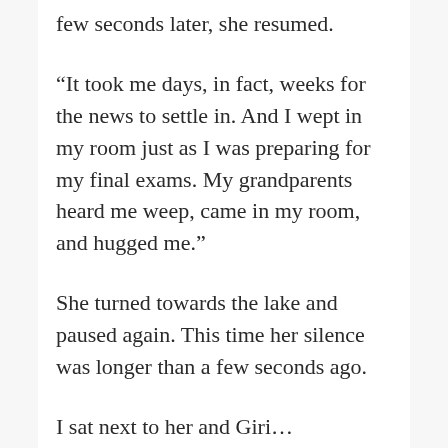few seconds later, she resumed.
“It took me days, in fact, weeks for the news to settle in. And I wept in my room just as I was preparing for my final exams. My grandparents heard me weep, came in my room, and hugged me.”
She turned towards the lake and paused again. This time her silence was longer than a few seconds ago.
I sat next to her and Gir…